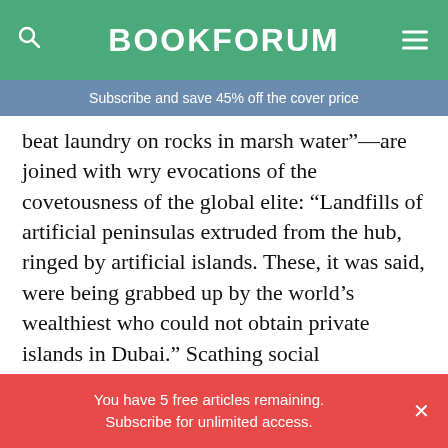BOOKFORUM
Subscribe and save 45% off the cover price
beat laundry on rocks in marsh water”—are joined with wry evocations of the covetousness of the global elite: “Landfills of artificial peninsulas extruded from the hub, ringed by artificial islands. These, it was said, were being grabbed up by the world’s wealthiest who could not obtain private islands in Dubai.” Scathing social observations abound, and there are timely swipes directed at ecological ruin, the “homogenized, bleakly uniform” gentrification driven ruthlessly by developers, and
You have 5 free articles remaining. Subscribe for unlimited access.